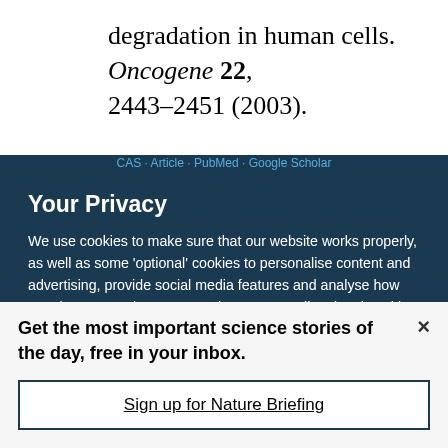degradation in human cells. Oncogene 22, 2443–2451 (2003).
Your Privacy
We use cookies to make sure that our website works properly, as well as some 'optional' cookies to personalise content and advertising, provide social media features and analyse how people use our site. By accepting some or all optional cookies you give consent to the processing of your personal data, including transfer to third parties, some in countries outside of the European Economic Area that do not offer the same data protection standards as the country where you live. You can decide which optional cookies to accept by clicking on 'Manage Settings', where you can
Get the most important science stories of the day, free in your inbox.
Sign up for Nature Briefing